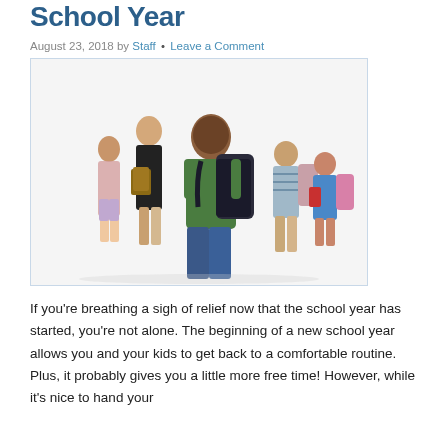School Year
August 23, 2018 by Staff • Leave a Comment
[Figure (photo): Group of school children with backpacks. A boy in a green shirt with a large backpack stands in the foreground. Behind him are several other children: a girl in a black outfit holding books, a boy in a striped shirt, and a girl in a blue dress with a pink backpack.]
If you're breathing a sigh of relief now that the school year has started, you're not alone. The beginning of a new school year allows you and your kids to get back to a comfortable routine. Plus, it probably gives you a little more free time! However, while it's nice to hand your